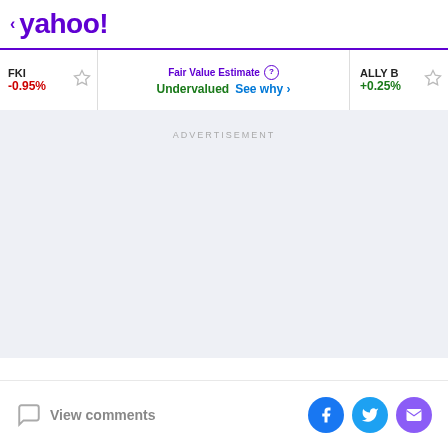< yahoo!
FKI -0.95% | Fair Value Estimate Undervalued See why > | ALLY B +0.25%
ADVERTISEMENT
View comments
[Figure (other): Social share buttons: Facebook, Twitter, Email]